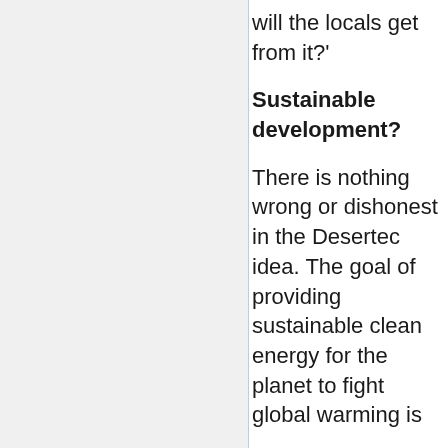will the locals get from it?'
Sustainable development?
There is nothing wrong or dishonest in the Desertec idea. The goal of providing sustainable clean energy for the planet to fight global warming is